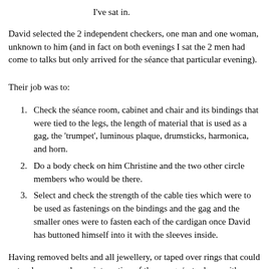I've sat in.
David selected the 2 independent checkers, one man and one woman, unknown to him (and in fact on both evenings I sat the 2 men had come to talks but only arrived for the séance that particular evening).
Their job was to:
Check the séance room, cabinet and chair and its bindings that were tied to the legs, the length of material that is used as a gag, the 'trumpet', luminous plaque, drumsticks, harmonica, and horn.
Do a body check on him Christine and the two other circle members who would be there.
Select and check the strength of the cable ties which were to be used as fastenings on the bindings and the gag and the smaller ones were to fasten each of the cardigan once David has buttoned himself into it with the sleeves inside.
Having removed belts and all jewellery, or taped over rings that could not reduce any adverse interaction of the energy/ectoplasm with metal and a body check to make sure we were carrying nothing into the room.